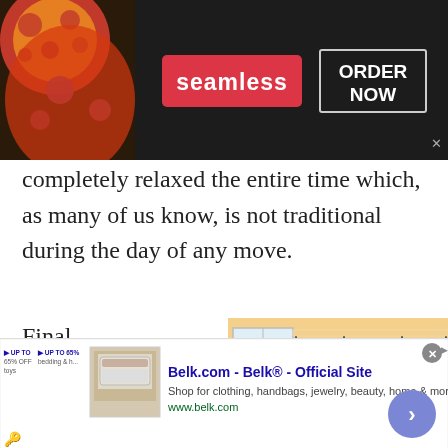[Figure (screenshot): Seamless food delivery advertisement banner with pizza image on left, Seamless logo in red badge center, and ORDER NOW button in bordered box on right, all on dark background]
completely relaxed the entire time which, as many of us know, is not traditional during the day of any move.
Final Thoughts When it was all said and
[Figure (photo): Room interior with bookshelf unit drawn as architectural sketch overlaid on photo, with moving boxes in the corner]
[Figure (screenshot): Belk.com advertisement banner showing Belk Official Site with product thumbnail and shop description for clothing handbags jewelry beauty home and more]